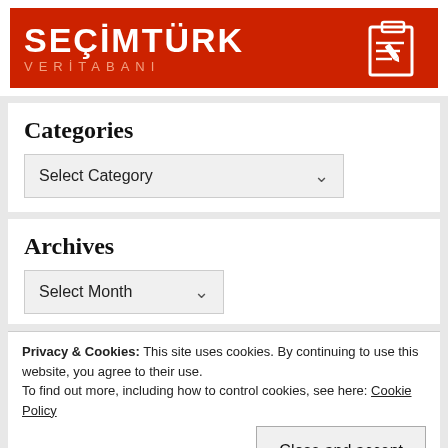[Figure (logo): SeçimTürk Veritabanı logo — red banner with white bold text 'SEÇİMTÜRK', orange subtitle 'VERİTABANI', and a white clipboard/pencil icon on the right]
Categories
Select Category
Archives
Select Month
Privacy & Cookies: This site uses cookies. By continuing to use this website, you agree to their use.
To find out more, including how to control cookies, see here: Cookie Policy
Close and accept
Archives